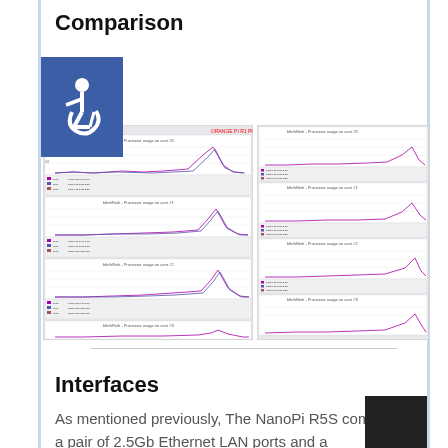Comparison
[Figure (continuous-plot): Multiple processor usage per core charts shown side by side, left column shows 4 charts (cores 0-3) and right column shows 4 charts (cores 4-7), all showing time series CPU utilization data with colored lines]
Interfaces
As mentioned previously, The NanoPi R5S comes with a pair of 2.5Gb Ethernet LAN ports and a